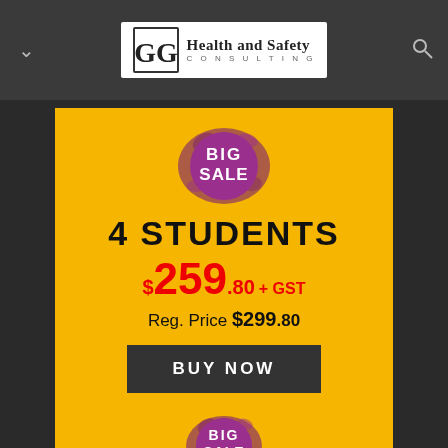[Figure (logo): GG Health and Safety Consulting logo in white banner]
[Figure (infographic): Yellow sale card: 4 Students, $259.80 + GST, Reg. Price $299.80, BUY NOW button, with Big Sale badge]
[Figure (infographic): Yellow sale card (partial): 8 Students with Big Sale badge]